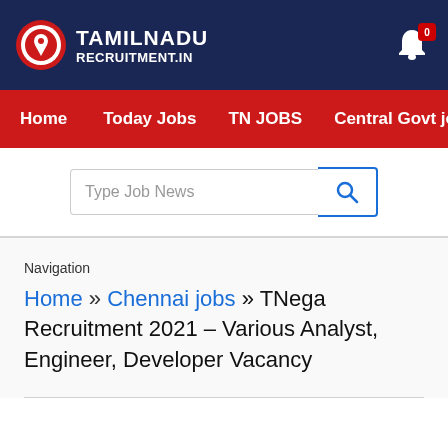[Figure (logo): Tamilnadu Recruitment.in logo with map pin icon on navy background]
Home  Today Jobs  TN JOBS  Central Govt jobs
[Figure (screenshot): Search bar with 'Type Job News' placeholder and blue search button]
Navigation
Home » Chennai jobs » TNega Recruitment 2021 – Various Analyst, Engineer, Developer Vacancy